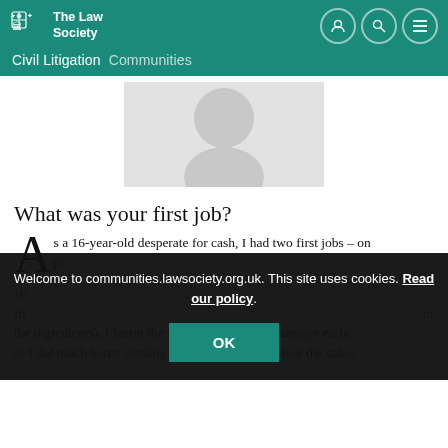The Law Society — Civil Litigation Communities
[Figure (photo): Profile placeholder image — grey rectangle with circular silhouette]
What was your first job?
As a 16-year-old desperate for cash, I had two first jobs – on...pr...W...fir...of the ingredients). I learnt the value of a business manager early, as I did much better sending my Dad round to deliver the cakes
Welcome to communities.lawsociety.org.uk. This site uses cookies. Read our policy.